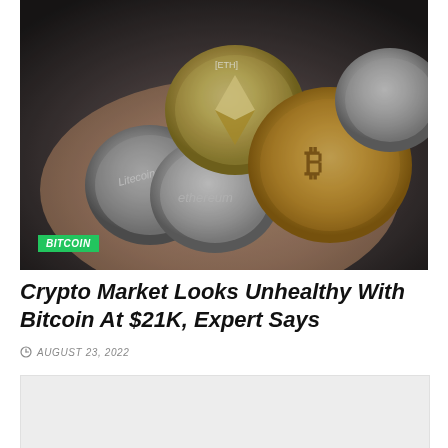[Figure (photo): A hand holding multiple cryptocurrency coins including Bitcoin (gold), Ethereum (silver/gold), and Litecoin coins. The image has a 'BITCOIN' label in green at the bottom left.]
Crypto Market Looks Unhealthy With Bitcoin At $21K, Expert Says
AUGUST 23, 2022
[Figure (photo): A partially visible second image below the article metadata, showing a light gray/white area.]